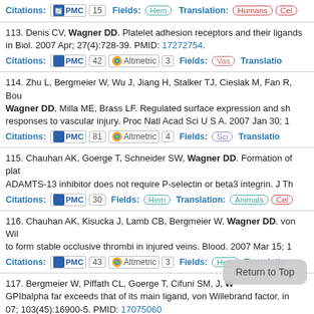Citations: PMC 15  Fields: Hem  Translation: Humans Cel
113. Denis CV, Wagner DD. Platelet adhesion receptors and their ligands in Biol. 2007 Apr; 27(4):728-39. PMID: 17272754. Citations: PMC 42 Altmetric 3 Fields: Vas Translation
114. Zhu L, Bergmeier W, Wu J, Jiang H, Stalker TJ, Cieslak M, Fan R, Bou Wagner DD, Milla ME, Brass LF. Regulated surface expression and sh responses to vascular injury. Proc Natl Acad Sci U S A. 2007 Jan 30; 1 Citations: PMC 81 Altmetric 4 Fields: Sci Translation
115. Chauhan AK, Goerge T, Schneider SW, Wagner DD. Formation of plat ADAMTS-13 inhibitor does not require P-selectin or beta3 integrin. J Th Citations: PMC 30 Fields: Hem Translation: Animals Cel
116. Chauhan AK, Kisucka J, Lamb CB, Bergmeier W, Wagner DD. von Wil to form stable occlusive thrombi in injured veins. Blood. 2007 Mar 15; 1 Citations: PMC 43 Altmetric 3 Fields: Hem Translation
117. Bergmeier W, Piffath CL, Goerge T, Cifuni SM, J, W GPIbalpha far exceeds that of its main ligand, von Willebrand factor, in 07; 103(45):16900-5. PMID: 17075060
Return to Top